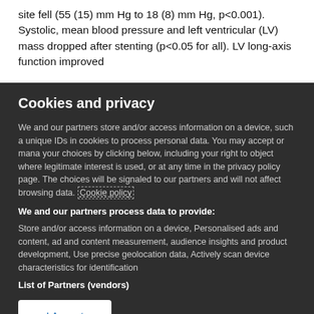site fell (55 (15) mm Hg to 18 (8) mm Hg, p<0.001). Systolic, mean blood pressure and left ventricular (LV) mass dropped after stenting (p<0.05 for all). LV long-axis function improved
Cookies and privacy
We and our partners store and/or access information on a device, such a unique IDs in cookies to process personal data. You may accept or manage your choices by clicking below, including your right to object where legitimate interest is used, or at any time in the privacy policy page. These choices will be signaled to our partners and will not affect browsing data. Cookie policy
We and our partners process data to provide:
Store and/or access information on a device, Personalised ads and content, ad and content measurement, audience insights and product development, Use precise geolocation data, Actively scan device characteristics for identification
List of Partners (vendors)
I Accept